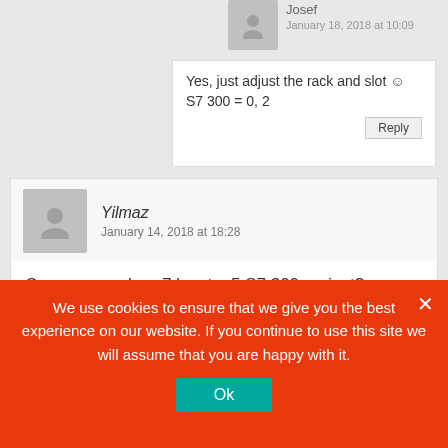Josef
January 18, 2018 at 10:09
Yes, just adjust the rack and slot 🙂
S7 300 = 0, 2
Yilmaz
January 14, 2018 at 18:28
Can we use sharp7 by step5 S7 300 project?
Mark
We use cookies to ensure that we give you the best experience on our website. If you continue to use this site we will assume that you are happy with it.